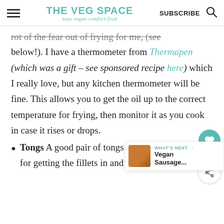THE VEG SPACE easy vegan comfort food | SUBSCRIBE
rot of the fear out of frying for me, (see below!). I have a thermometer from Thermapen (which was a gift – see sponsored recipe here) which I really love, but any kitchen thermometer will be fine. This allows you to get the oil up to the correct temperature for frying, then monitor it as you cook in case it rises or drops.
Tongs A good pair of tongs are v... for getting the fillets in and out of the hot